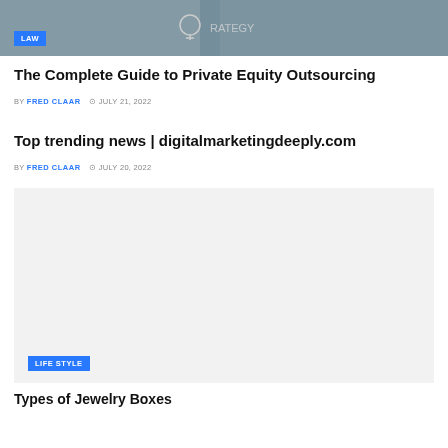[Figure (photo): Business/strategy themed photo with light bulb drawing and people working, with LAW badge overlay]
The Complete Guide to Private Equity Outsourcing
BY FRED CLAAR  JULY 21, 2022
Top trending news | digitalmarketingdeeply.com
BY FRED CLAAR  JULY 20, 2022
[Figure (photo): Gray placeholder image with LIFE STYLE badge overlay]
Types of Jewelry Boxes